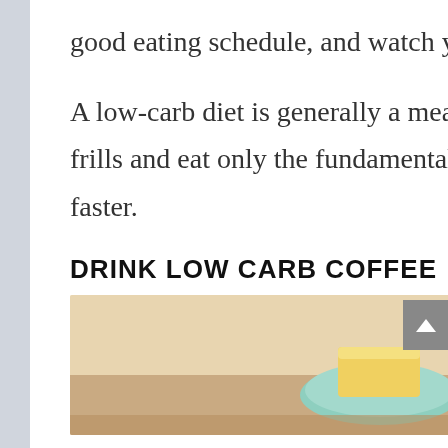good eating schedule, and watch your electrolyte intake closely.
A low-carb diet is generally a meat and vegetable diet. If you cut down the frills and eat only the fundamental substances, you’ll get into nutritional ketosis faster.
DRINK LOW CARB COFFEE
[Figure (photo): Photo showing ingredients for low carb coffee including butter in a green bowl and cream/coconut oil in a white bowl on a wooden surface]